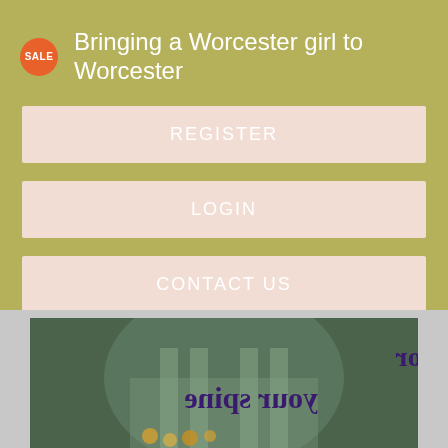Bringing a Worcester girl to Worcester
REGISTER
LOGIN
CONTACT US
[Figure (photo): A reflected/mirrored photo showing text 'rd for your spine' displayed backwards, with a dark green background and floral elements at the bottom.]